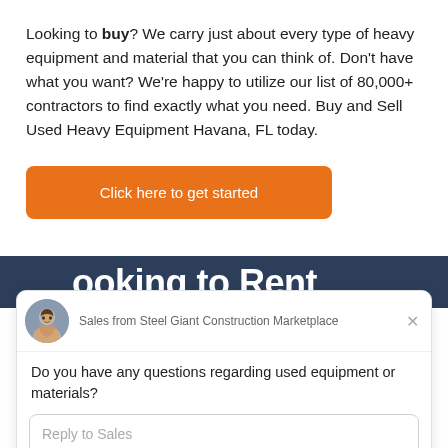Looking to buy? We carry just about every type of heavy equipment and material that you can think of. Don't have what you want? We're happy to utilize our list of 80,000+ contractors to find exactly what you need. Buy and Sell Used Heavy Equipment Havana, FL today.
[Figure (other): Orange button with text 'Click here to get started']
ooking to Rent
[Figure (other): Chat widget popup from Sales at Steel Giant Construction Marketplace with message 'Do you have any questions regarding used equipment or materials?' and a reply input field. Footer: Chat by Drift.]